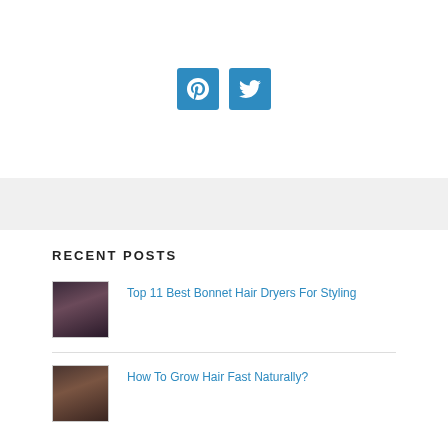[Figure (infographic): Two blue social media icon buttons: Pinterest (P) and Twitter (bird icon)]
RECENT POSTS
[Figure (photo): Woman with long dark curly hair]
Top 11 Best Bonnet Hair Dryers For Styling
[Figure (photo): Hair photo thumbnail]
How To Grow Hair Fast Naturally?